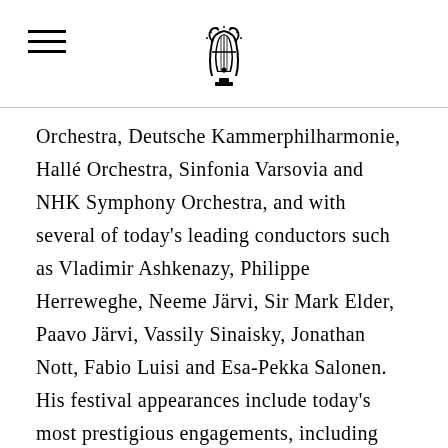[logo and navigation]
Orchestra, Deutsche Kammerphilharmonie, Hallé Orchestra, Sinfonia Varsovia and NHK Symphony Orchestra, and with several of today's leading conductors such as Vladimir Ashkenazy, Philippe Herreweghe, Neeme Järvi, Sir Mark Elder, Paavo Järvi, Vassily Sinaisky, Jonathan Nott, Fabio Luisi and Esa-Pekka Salonen. His festival appearances include today's most prestigious engagements, including Salzburg Festival, La Roque d'Anthéron, La Grange de Meslay, Edinburgh International Festival,